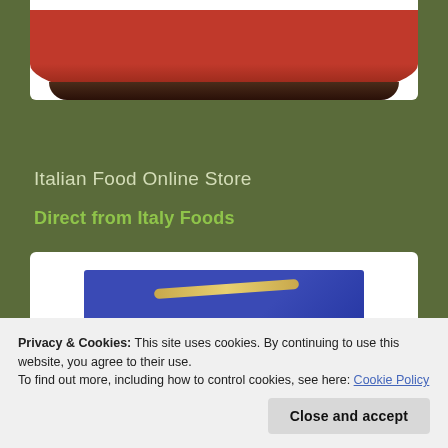[Figure (photo): Top portion of a jar with dark reddish-brown contents visible, showing the lid rim at the bottom, on a white background]
Italian Food Online Store
Direct from Italy Foods
[Figure (photo): Blue rectangular food package with a gold/brass clip or handle on top; below it are two food items side by side - a blue package on the left and a baked/food item on the right]
Privacy & Cookies: This site uses cookies. By continuing to use this website, you agree to their use.
To find out more, including how to control cookies, see here: Cookie Policy